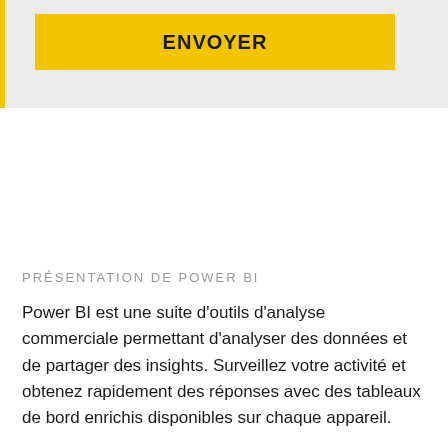[Figure (screenshot): A yellow button labeled ENVOYER on a light gray background with a yellow left border accent.]
PRÉSENTATION DE POWER BI
Power BI est une suite d’outils d’analyse commerciale permettant d’analyser des données et de partager des insights. Surveillez votre activité et obtenez rapidement des réponses avec des tableaux de bord enrichis disponibles sur chaque appareil.